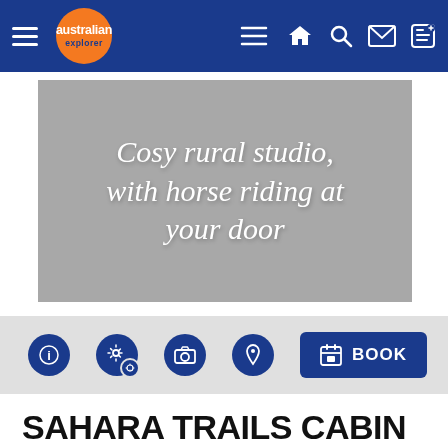Australian Explorer navigation bar with hamburger menu, logo, home, search, mail, and edit icons
[Figure (photo): Grey hero image banner with italic script text reading: Cosy rural studio, with horse riding at your door]
[Figure (infographic): Toolbar with info, settings, camera, location icons and a BOOK button]
SAHARA TRAILS CABIN 9D STUDIO